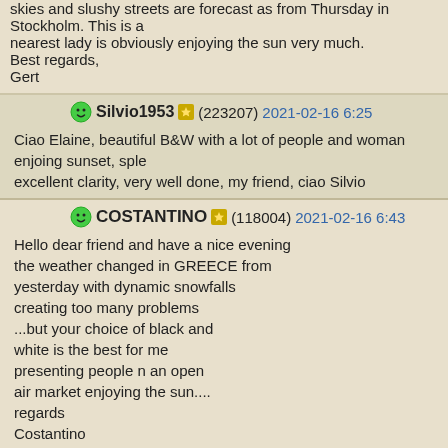skies and slushy streets are forecast as from Thursday in Stockholm. This is a nearest lady is obviously enjoying the sun very much.
Best regards,
Gert
Silvio1953 (223207) 2021-02-16 6:25
Ciao Elaine, beautiful B&W with a lot of people and woman enjoing sunset, sple excellent clarity, very well done, my friend, ciao Silvio
COSTANTINO (118004) 2021-02-16 6:43
Hello dear friend and have a nice evening
the weather changed in GREECE from
yesterday with dynamic snowfalls
creating too many problems
...but your choice of black and
white is the best for me
presenting people n an open
air market enjoying the sun....
regards
Costantino
jhm (211738) 2021-02-16 7:06